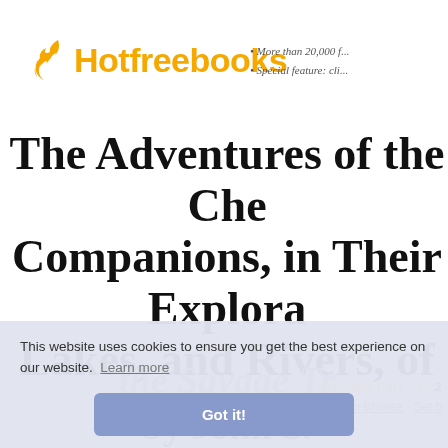[Figure (logo): Hotfreebooks logo with orange flame icon and orange bold text]
• More than 20,000 f...
• Special feature: cli...
The Adventures of the Che... Companions, in Their Explora... Lakes, and Rivers, of the New W... the Savage Tr... by John S.
This website uses cookies to ensure you get the best experience on our website. Learn more
Got it!
Previous Part  1  2
Home - Random Browse - Set b...